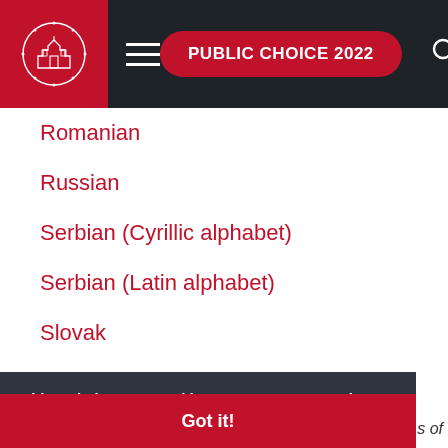PUBLIC CHOICE 2022
Romanian
Russian
Serbian (Cyrillic alphabet)
Serbian (Latin alphabet)
Slovak
Slovenian
This website uses cookies to ensure you get the best experience on our website.
Learn more
Got it!
s of